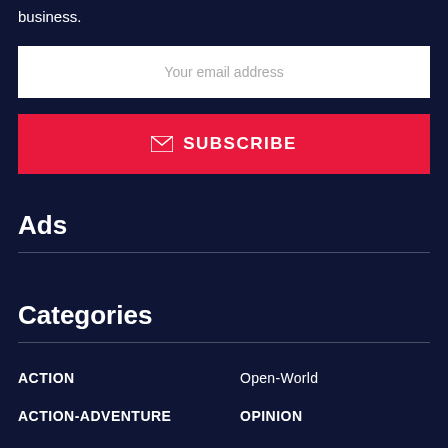business.
Your email address
SUBSCRIBE
Ads
Categories
ACTION
ACTION-ADVENTURE
Open-World
OPINION